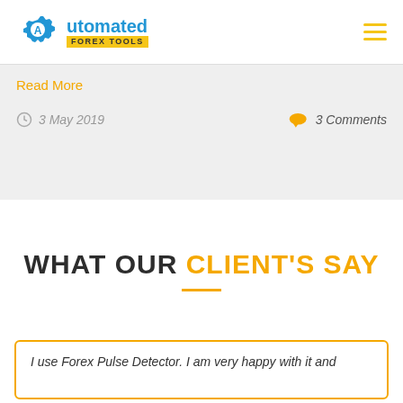[Figure (logo): Automated Forex Tools logo with gear icon]
Read More
3 May 2019
3 Comments
WHAT OUR CLIENT'S SAY
I use Forex Pulse Detector.  I am very happy with it and